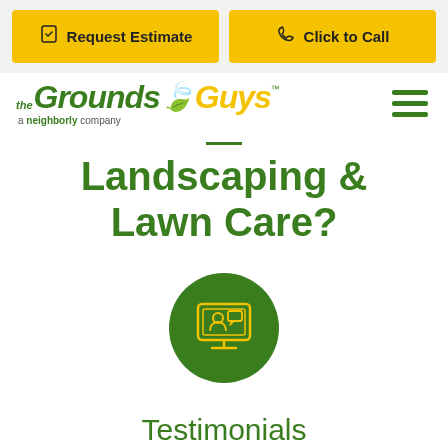Request Estimate | Click to Call
[Figure (logo): The Grounds Guys logo — a Neighborly company]
Landscaping & Lawn Care?
[Figure (illustration): Green circle icon with a monitor/computer screen showing a person at a desk]
Testimonials